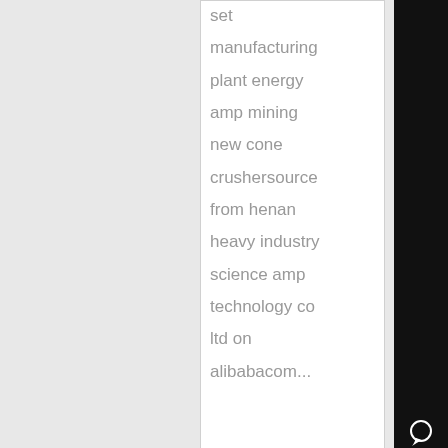set manufacturing plant energy amp mining new cone crushersource from henan heavy industry science amp technology co ltd on alibabacom...
Know More
[Figure (photo): Blue product image (partially visible) in lower card section]
mobile
[Figure (other): Right black sidebar with Chat icon, E-mail icon, Top arrow icon, and X close button]